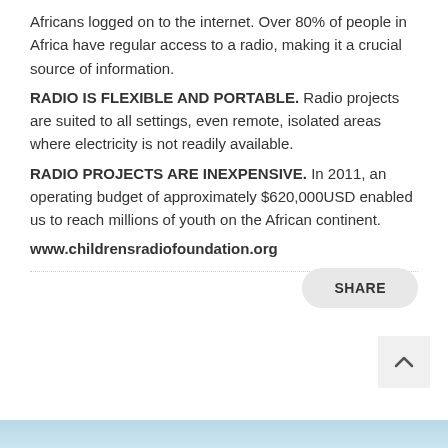Africans logged on to the internet. Over 80% of people in Africa have regular access to a radio, making it a crucial source of information.
RADIO IS FLEXIBLE AND PORTABLE. Radio projects are suited to all settings, even remote, isolated areas where electricity is not readily available.
RADIO PROJECTS ARE INEXPENSIVE. In 2011, an operating budget of approximately $620,000USD enabled us to reach millions of youth on the African continent.
www.childrensradiofoundation.org
[Figure (other): SHARE button with rounded rectangle style]
[Figure (other): Back to top arrow button]
[Figure (other): Light blue gradient bottom bar]